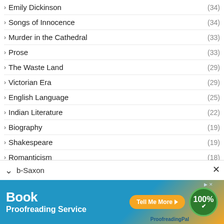Emily Dickinson (34)
Songs of Innocence (34)
Murder in the Cathedral (33)
Prose (33)
The Waste Land (29)
Victorian Era (29)
English Language (25)
Indian Literature (22)
Biography (19)
Shakespeare (19)
Romanticism (18)
Essay (16)
Anglo-Saxon
[Figure (infographic): Book Proofreading Service advertisement banner with blue and orange gradient, 'Tell Me More' CTA button, and 100% badge. ProofreadingPal branding.]